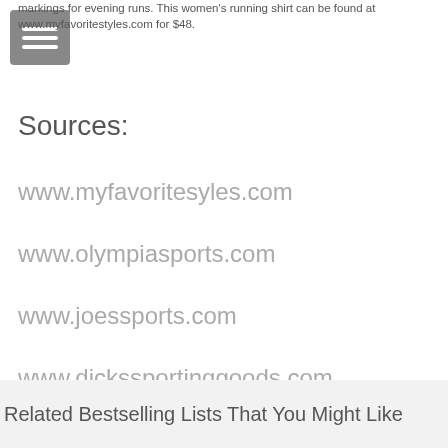markings for evening runs. This women's running shirt can be found at www.myfavoritestyles.com for $48.
Sources:
www.myfavoritesyles.com
www.olympiasports.com
www.joessports.com
www.dickssportinggoods.com
www.nike.com
Related Bestselling Lists That You Might Like